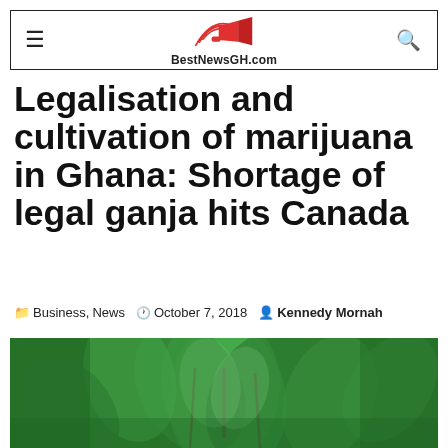BestNewsGH.com
Legalisation and cultivation of marijuana in Ghana: Shortage of legal ganja hits Canada
Business, News  October 7, 2018  Kennedy Mornah
[Figure (photo): Close-up photo of green cannabis/marijuana plant leaves]